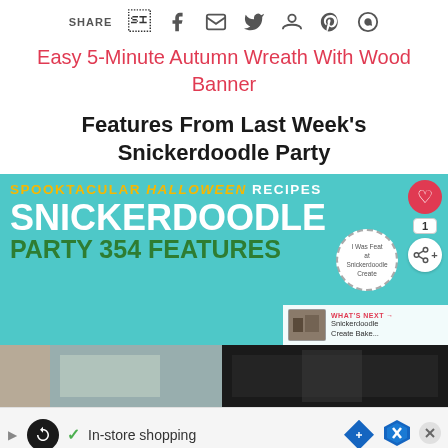SHARE [facebook] [email] [twitter] [pinterest] [whatsapp]
Easy 5-Minute Autumn Wreath With Wood Banner
Features From Last Week's Snickerdoodle Party
[Figure (screenshot): Banner image for Spooktacular Halloween Recipes Snickerdoodle Party 354 Features on teal background, with heart/share overlay buttons and 'Was Featured at Snickerdoodle Create' badge, and 'What's Next: Snickerdoodle Create Bake...' panel]
[Figure (screenshot): Two thumbnail images at the bottom, partially visible]
[Figure (screenshot): Ad bar with loop icon, navigation icon, checkmark, 'In-store shopping' text, blue map icon, and close button]